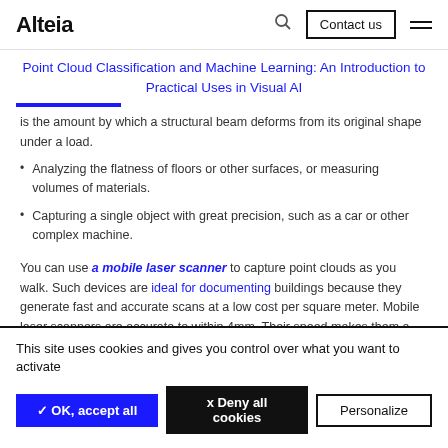Alteia | Contact us
Point Cloud Classification and Machine Learning: An Introduction to Practical Uses in Visual AI
is the amount by which a structural beam deforms from its original shape under a load.
Analyzing the flatness of floors or other surfaces, or measuring volumes of materials.
Capturing a single object with great precision, such as a car or other complex machine.
You can use a mobile laser scanner to capture point clouds as you walk. Such devices are ideal for documenting buildings because they generate fast and accurate scans at a low cost per square meter. Mobile laser scanners are accurate to within 4mm. Their speed makes them a preferred technology for
This site uses cookies and gives you control over what you want to activate